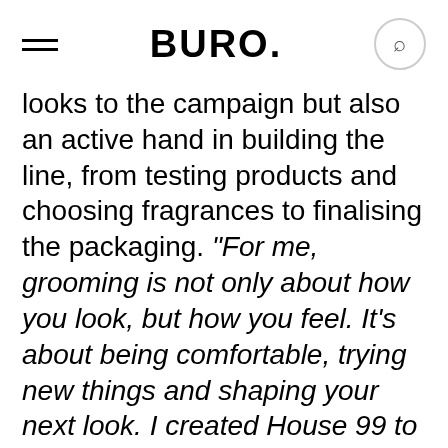BURO.
looks to the campaign but also an active hand in building the line, from testing products and choosing fragrances to finalising the packaging. "For me, grooming is not only about how you look, but how you feel. It's about being comfortable, trying new things and shaping your next look. I created House 99 to give people the inspiration as well as the right products to experiment and feel completely at